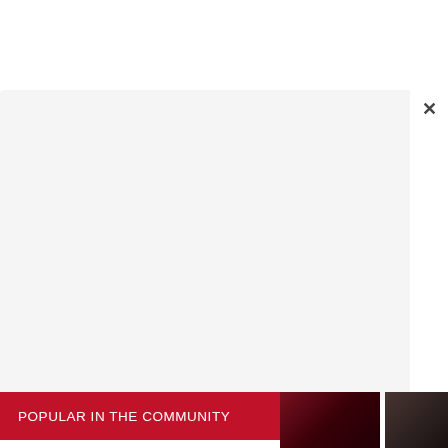[Figure (screenshot): White top area of a webpage, above a modal popup]
[Figure (screenshot): Gray modal/popup overlay panel with close X button in top right corner]
POPULAR IN THE COMMUNITY
[Figure (photo): Partial dark red/maroon thumbnail image]
[Figure (photo): Partial dark brown/black thumbnail image]